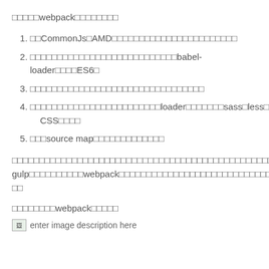□□□□□webpack□□□□□□□□
□□CommonJs□AMD□□□□□□□□□□□□□□□□□□□□□□□
□□□□□□□□□□□□□□□□□□□□□□□□□□□babel-loader□□□□ES6□
□□□□□□□□□□□□□□□□□□□□□□□□□□□□□□□□
□□□□□□□□□□□□□□□□□□□□□□□□loader□□□□□□□sass□less□CSS□□□□
□□□source map□□□□□□□□□□□□□
□□□□□□□□□□□□□□□□□□□□□□□□□□□□□□□□□□□□□□□□□□□□□□□□□grunt□gulp□□□□□□□□□□webpack□□□□□□□□□□□□□□□□□□□□□□□□□□□□□□
□□□□□□□□webpack□□□□□
[Figure (photo): enter image description here - placeholder image icon]